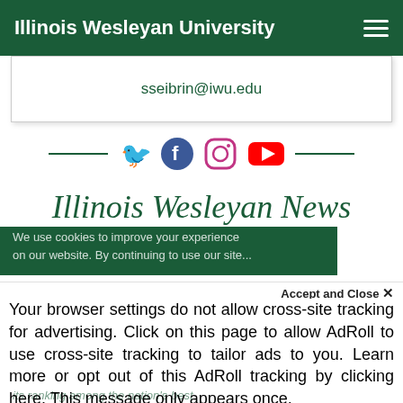Illinois Wesleyan University
sseibrin@iwu.edu
[Figure (illustration): Social media icons row: Twitter (blue bird), Facebook (blue circle with f), Instagram (pink/purple camera outline), YouTube (red rectangle with play button), flanked by short green horizontal lines on each side]
Illinois Wesleyan News
We use cookies to improve your experience on our website. By continuing to use our site...
Accept and Close ×
Your browser settings do not allow cross-site tracking for advertising. Click on this page to allow AdRoll to use cross-site tracking to tailor ads to you. Learn more or opt out of this AdRoll tracking by clicking here. This message only appears once.
its ranking among the nation's best